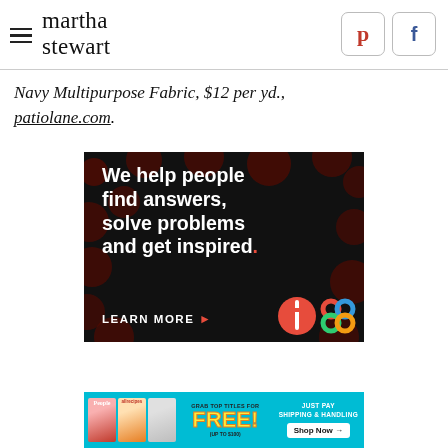martha stewart
Navy Multipurpose Fabric, $12 per yd., patiolane.com.
[Figure (infographic): Advertisement with dark background and red polka dot pattern. Text reads: 'We help people find answers, solve problems and get inspired.' with 'LEARN MORE' call to action and logos at bottom right.]
[Figure (infographic): Advertisement banner for free magazine subscriptions. Shows People and allrecipes magazine covers. Text: 'GRAB TOP TITLES FOR FREE! (UP TO $100)' and 'JUST PAY SHIPPING & HANDLING' with 'Shop Now' button on teal background.]